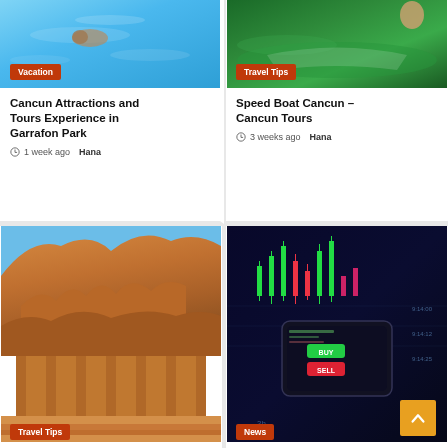[Figure (photo): Swimming pool with blue water, person swimming]
Vacation
Cancun Attractions and Tours Experience in Garrafon Park
1 week ago  Hana
[Figure (photo): Green water with boat, travel tips]
Travel Tips
Speed Boat Cancun – Cancun Tours
3 weeks ago  Hana
[Figure (photo): Ancient Egyptian temple carved into rock face, Luxor]
Travel Tips
[Figure (photo): Stock market trading app on phone with candlestick chart]
News